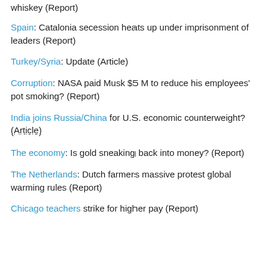whiskey (Report)
Spain: Catalonia secession heats up under imprisonment of leaders (Report)
Turkey/Syria: Update (Article)
Corruption: NASA paid Musk $5 M to reduce his employees' pot smoking? (Report)
India joins Russia/China for U.S. economic counterweight? (Article)
The economy: Is gold sneaking back into money? (Report)
The Netherlands: Dutch farmers massive protest global warming rules (Report)
Chicago teachers strike for higher pay (Report)